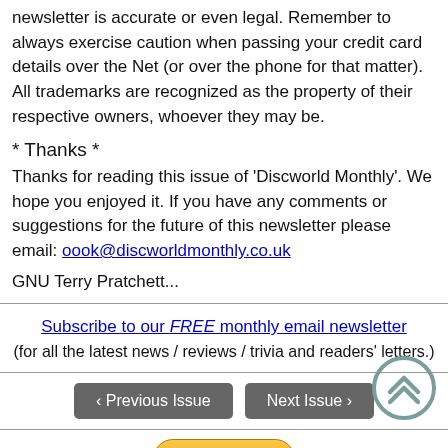newsletter is accurate or even legal. Remember to always exercise caution when passing your credit card details over the Net (or over the phone for that matter). All trademarks are recognized as the property of their respective owners, whoever they may be.
* Thanks *
Thanks for reading this issue of 'Discworld Monthly'. We hope you enjoyed it. If you have any comments or suggestions for the future of this newsletter please email: oook@discworldmonthly.co.uk
GNU Terry Pratchett...
Subscribe to our FREE monthly email newsletter (for all the latest news / reviews / trivia and readers' letters.)
‹ Previous Issue | Next Issue ›
[Figure (other): Circular scroll-to-top icon with double chevron]
Donate